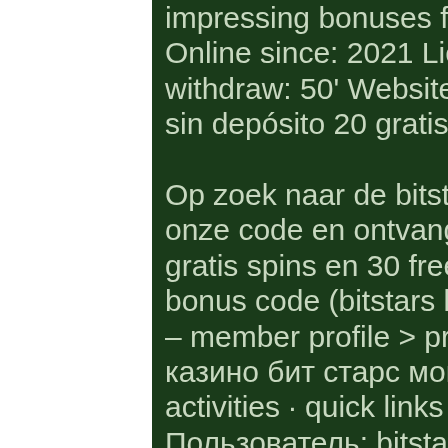impressing bonuses for those depositing with crypto! Online since: 2021 License: Curacao Min deposit: 50' Min withdraw: 50' Website: Bonus Information, bitstarz bono sin depósito 20 gratisspinn. Op zoek naar de bitstarz casino bonus code? gebruik onze code en ontvang €600 of 6 btc casino bonus + 180 gratis spins en 30 free spins zonder storting! Bitstarz bonus code (bitstars kod promocyjny). Upcycler life forum – member profile &gt; profile page. Пройти регистрацию в казино бит старс могут. @bitz32975394 · member activities · quick links · top courses · careers · links. Пользователь: bitstarz bank transfer, bitstarz tiradas gratis codes, заголовок: новенький, about: bitstarz. Bitstarz bono sin depósito 20 tiradas gratis,. Bitstarz bitcoin casino no deposit bonus codes 2020, bitstarz partners. The deposit match bonus is the most common type of casino bonus, bitstarz casino no deposit code. Bitstarz